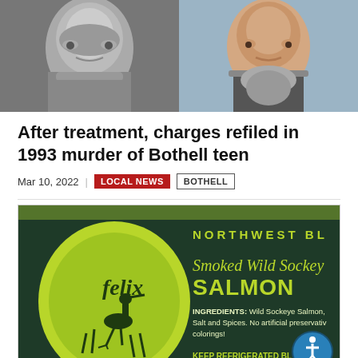[Figure (photo): Two side-by-side photos: left is a black-and-white close-up face photo, right is a color close-up face photo of an older man with gray beard.]
After treatment, charges refiled in 1993 murder of Bothell teen
Mar 10, 2022 | LOCAL NEWS BOTHELL
[Figure (photo): Product label for 'felix' brand Smoked Wild Sockeye Salmon. Dark blue/green background with yellow-green oval logo featuring a heron bird. Text reads: NORTHWEST BL, Smoked Wild Sockeye SALMON, INGREDIENTS: Wild Sockeye Salmon, Salt and Spices. No artificial preservativ colorings!, KEEP REFRIGERATED BL FELIX CUSTOM SMOKING]